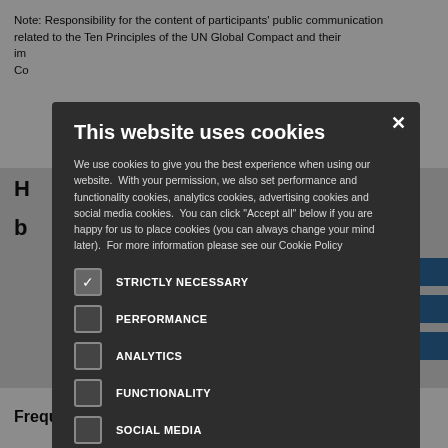Note: Responsibility for the content of participants' public communication related to the Ten Principles of the UN Global Compact and their im... Co...
H... b...
[Figure (screenshot): Cookie consent modal overlay on a website. Dark modal with title 'This website uses cookies', explanatory text about cookie types, a checklist of cookie categories (Strictly Necessary checked, Performance, Analytics, Functionality, Social Media unchecked), and two buttons: Accept All (green) and Decline All (dark outlined).]
H...
Frequently Asked Questions